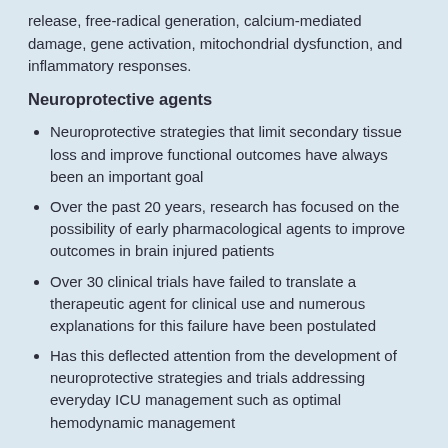release, free-radical generation, calcium-mediated damage, gene activation, mitochondrial dysfunction, and inflammatory responses.
Neuroprotective agents
Neuroprotective strategies that limit secondary tissue loss and improve functional outcomes have always been an important goal
Over the past 20 years, research has focused on the possibility of early pharmacological agents to improve outcomes in brain injured patients
Over 30 clinical trials have failed to translate a therapeutic agent for clinical use and numerous explanations for this failure have been postulated
Has this deflected attention from the development of neuroprotective strategies and trials addressing everyday ICU management such as optimal hemodynamic management